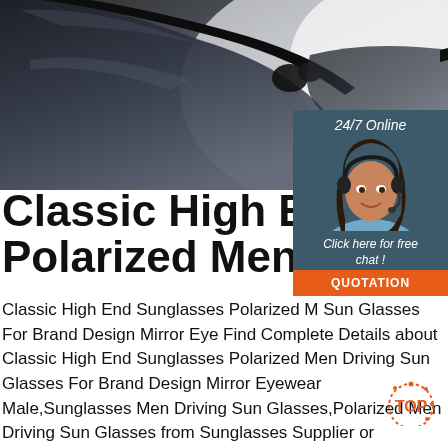[Figure (photo): Close-up photo of dark polarized sunglasses on white background]
[Figure (infographic): 24/7 Online chat widget with customer service representative avatar, 'Click here for free chat!' text and orange QUOTATION button]
Classic High End Sungl Polarized Men Driving S
Classic High End Sunglasses Polarized M Sun Glasses For Brand Design Mirror Eye Find Complete Details about Classic High End Sunglasses Polarized Men Driving Sun Glasses For Brand Design Mirror Eyewear Male,Sunglasses Men Driving Sun Glasses,Polarized Men Driving Sun Glasses from Sunglasses Supplier or Manufacturer-